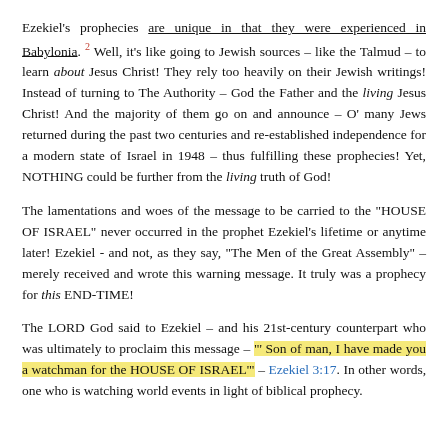Ezekiel's prophecies are unique in that they were experienced in Babylonia. 2 Well, it's like going to Jewish sources – like the Talmud – to learn about Jesus Christ! They rely too heavily on their Jewish writings! Instead of turning to The Authority – God the Father and the living Jesus Christ! And the majority of them go on and announce – O' many Jews returned during the past two centuries and re-established independence for a modern state of Israel in 1948 – thus fulfilling these prophecies! Yet, NOTHING could be further from the living truth of God!
The lamentations and woes of the message to be carried to the "HOUSE OF ISRAEL" never occurred in the prophet Ezekiel's lifetime or anytime later! Ezekiel - and not, as they say, "The Men of the Great Assembly" – merely received and wrote this warning message. It truly was a prophecy for this END-TIME!
The LORD God said to Ezekiel – and his 21st-century counterpart who was ultimately to proclaim this message – "' Son of man, I have made you a watchman for the HOUSE OF ISRAEL'" – Ezekiel 3:17. In other words, one who is watching world events in light of biblical prophecy.